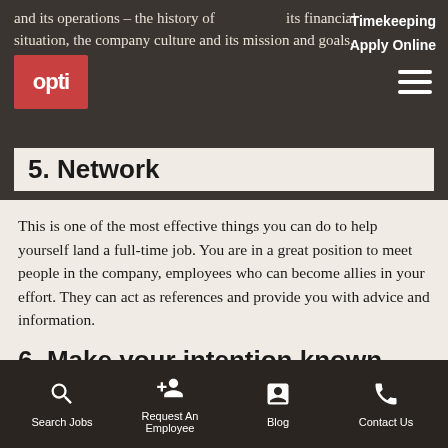and its operations – the history of its financial situation, the company culture and its mission and goals.
Timekeeping   Apply Online
5. Network
This is one of the most effective things you can do to help yourself land a full-time job. You are in a great position to meet people in the company, employees who can become allies in your effort. They can act as references and provide you with advice and information.
6. Make your intention known
Let your supervisor know early on of your interest in working at the company full-time.
Search Jobs   Request An Employee   Blog   Contact Us